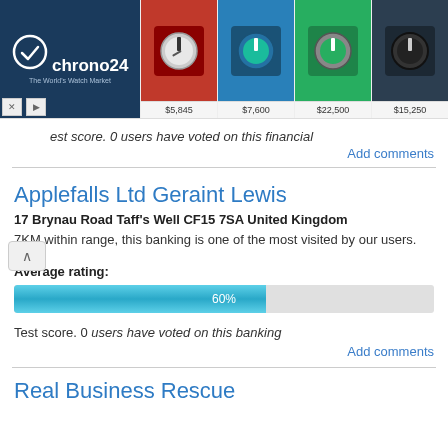[Figure (screenshot): Chrono24 watch advertisement banner with logo on left and four watch images with prices: $5,845, $7,600, $22,500, $15,250]
est score. 0 users have voted on this financial
Add comments
Applefalls Ltd Geraint Lewis
17 Brynau Road Taff's Well CF15 7SA United Kingdom
7KM within range, this banking is one of the most visited by our users.
Average rating:
[Figure (infographic): Progress bar showing 60% rating in blue]
Test score. 0 users have voted on this banking
Add comments
Real Business Rescue